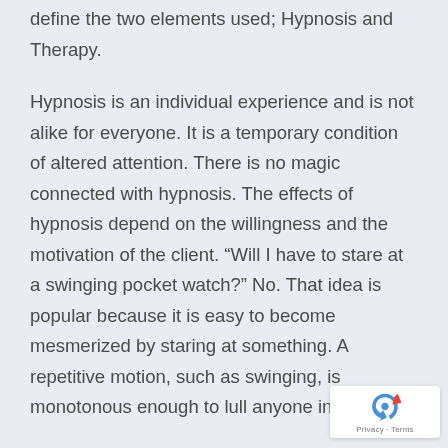define the two elements used; Hypnosis and Therapy.
Hypnosis is an individual experience and is not alike for everyone. It is a temporary condition of altered attention. There is no magic connected with hypnosis. The effects of hypnosis depend on the willingness and the motivation of the client. “Will I have to stare at a swinging pocket watch?” No. That idea is popular because it is easy to become mesmerized by staring at something. A repetitive motion, such as swinging, is monotonous enough to lull anyone into